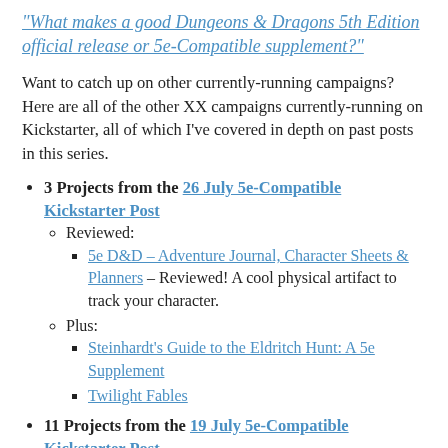"What makes a good Dungeons & Dragons 5th Edition official release or 5e-Compatible supplement?"
Want to catch up on other currently-running campaigns? Here are all of the other XX campaigns currently-running on Kickstarter, all of which I've covered in depth on past posts in this series.
3 Projects from the 26 July 5e-Compatible Kickstarter Post
Reviewed:
5e D&D – Adventure Journal, Character Sheets & Planners – Reviewed! A cool physical artifact to track your character.
Plus:
Steinhardt's Guide to the Eldritch Hunt: A 5e Supplement
Twilight Fables
11 Projects from the 19 July 5e-Compatible Kickstarter Post